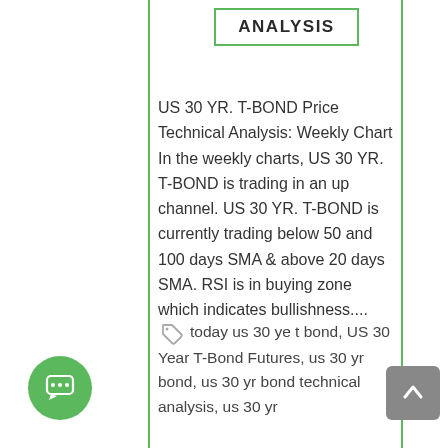ANALYSIS
US 30 YR. T-BOND Price Technical Analysis: Weekly Chart In the weekly charts, US 30 YR. T-BOND is trading in an up channel. US 30 YR. T-BOND is currently trading below 50 and 100 days SMA & above 20 days SMA. RSI is in buying zone which indicates bullishness....
today us 30 ye t bond, US 30 Year T-Bond Futures, us 30 yr bond, us 30 yr bond technical analysis, us 30 yr